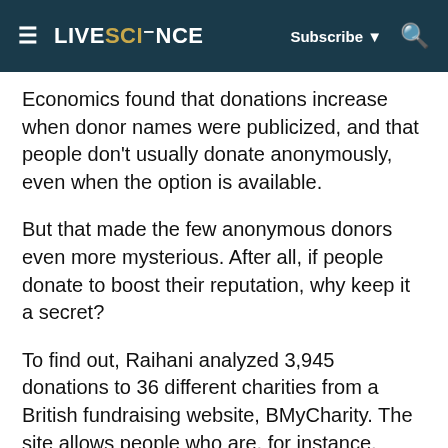LIVESCIENCE  Subscribe  🔍
Economics found that donations increase when donor names were publicized, and that people don't usually donate anonymously, even when the option is available.
But that made the few anonymous donors even more mysterious. After all, if people donate to boost their reputation, why keep it a secret?
To find out, Raihani analyzed 3,945 donations to 36 different charities from a British fundraising website, BMyCharity. The site allows people who are, for instance, running a marathon for a nonprofit, to email their friends and colleagues for donations.
The fundraising...